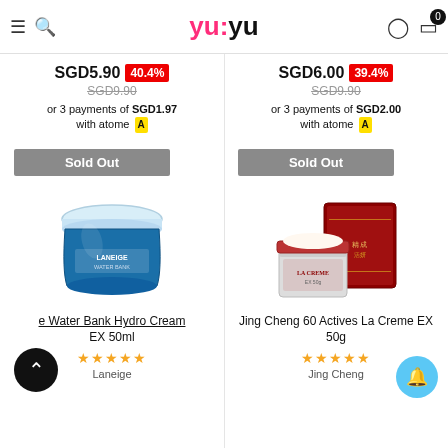yuyu (logo) — navigation header with hamburger menu, search, profile, cart (0)
SGD5.90  40.4%
SGD9.90
or 3 payments of SGD1.97 with atome
SGD6.00  39.4%
SGD9.90
or 3 payments of SGD2.00 with atome
Sold Out
Sold Out
[Figure (photo): Laneige Water Bank Hydro Cream EX 50ml product jar — blue/white cylindrical cream container]
[Figure (photo): Jing Cheng 60 Actives La Creme EX 50g product — red luxury cream jar with box]
e Water Bank Hydro Cream EX 50ml
Jing Cheng 60 Actives La Creme EX 50g
★★★★★
★★★★★
Laneige
Jing Cheng